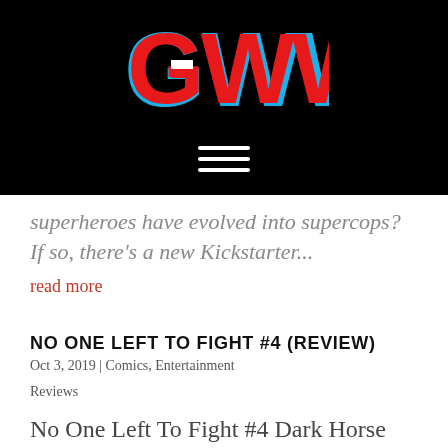[Figure (logo): GWW logo in red letters with blue outline on black background]
superheroes have evolved into supercops? If so, there's a new Kickstarter...
read more
NO ONE LEFT TO FIGHT #4 (REVIEW)
Oct 3, 2019 | Comics, Entertainment
Reviews
No One Left To Fight #4 Dark Horse Comics Written by: Aubrey Sitterson Art by: Figo